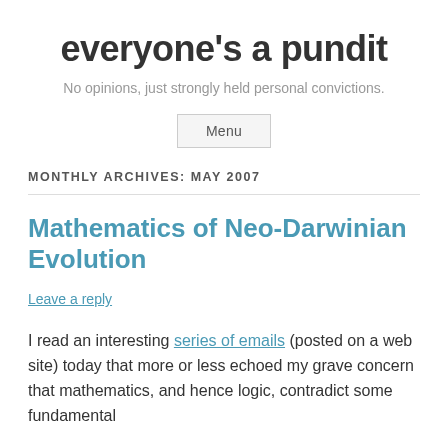everyone's a pundit
No opinions, just strongly held personal convictions.
Menu
MONTHLY ARCHIVES: MAY 2007
Mathematics of Neo-Darwinian Evolution
Leave a reply
I read an interesting series of emails (posted on a web site) today that more or less echoed my grave concern that mathematics, and hence logic, contradict some fundamental